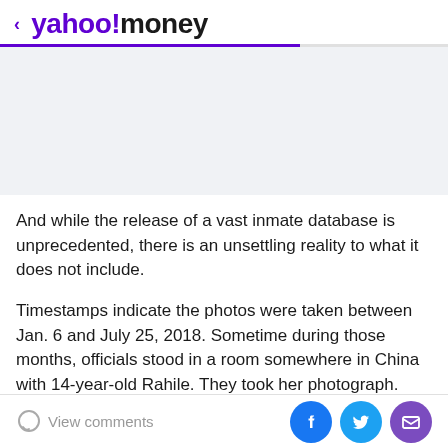< yahoo!money
[Figure (other): Advertisement placeholder area with light gray background]
And while the release of a vast inmate database is unprecedented, there is an unsettling reality to what it does not include.
Timestamps indicate the photos were taken between Jan. 6 and July 25, 2018. Sometime during those months, officials stood in a room somewhere in China with 14-year-old Rahile. They took her photograph. They logged
View comments